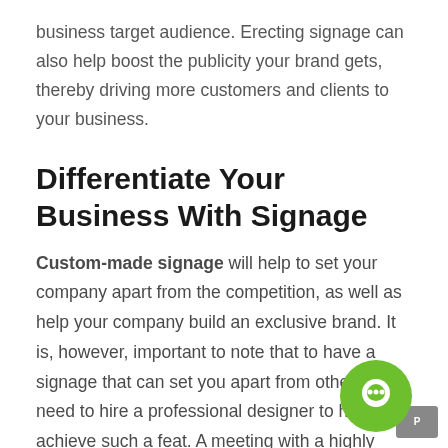business target audience. Erecting signage can also help boost the publicity your brand gets, thereby driving more customers and clients to your business.
Differentiate Your Business With Signage
Custom-made signage will help to set your company apart from the competition, as well as help your company build an exclusive brand. It is, however, important to note that to have a signage that can set you apart from others; you need to hire a professional designer to help achieve such a feat. A meeting with a highly creative signage designer, such as Procloud